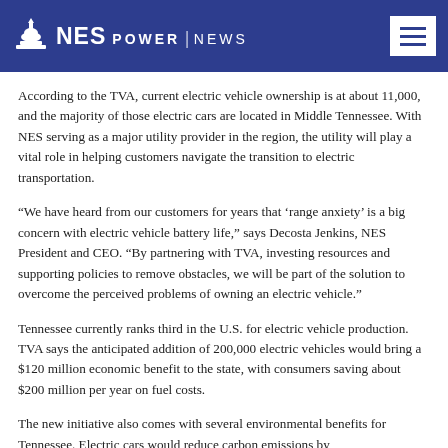NES POWER | NEWS
According to the TVA, current electric vehicle ownership is at about 11,000, and the majority of those electric cars are located in Middle Tennessee. With NES serving as a major utility provider in the region, the utility will play a vital role in helping customers navigate the transition to electric transportation.
“We have heard from our customers for years that ‘range anxiety’ is a big concern with electric vehicle battery life,” says Decosta Jenkins, NES President and CEO. “By partnering with TVA, investing resources and supporting policies to remove obstacles, we will be part of the solution to overcome the perceived problems of owning an electric vehicle.”
Tennessee currently ranks third in the U.S. for electric vehicle production. TVA says the anticipated addition of 200,000 electric vehicles would bring a $120 million economic benefit to the state, with consumers saving about $200 million per year on fuel costs.
The new initiative also comes with several environmental benefits for Tennessee. Electric cars would reduce carbon emissions by